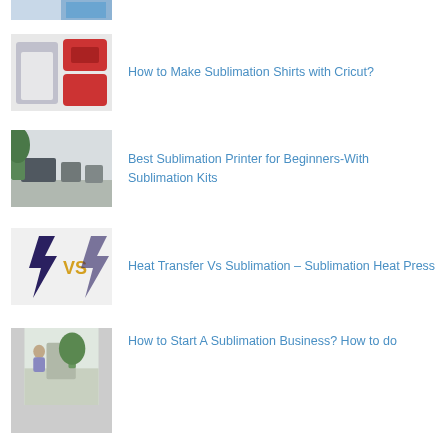[Figure (photo): Partial thumbnail image at top of page, cropped]
How to Make Sublimation Shirts with Cricut?
Best Sublimation Printer for Beginners-With Sublimation Kits
Heat Transfer Vs Sublimation – Sublimation Heat Press
How to Start A Sublimation Business? How to do